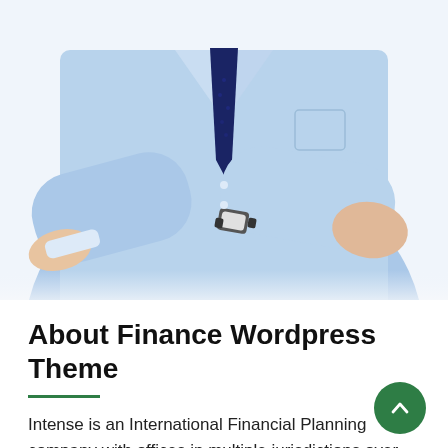[Figure (photo): Torso of a businessman in a light blue shirt and dark navy tie, arms crossed, wearing a square-face watch. White background.]
About Finance Wordpress Theme
Intense is an International Financial Planning company with offices in multiple jurisdictions over the world. Working